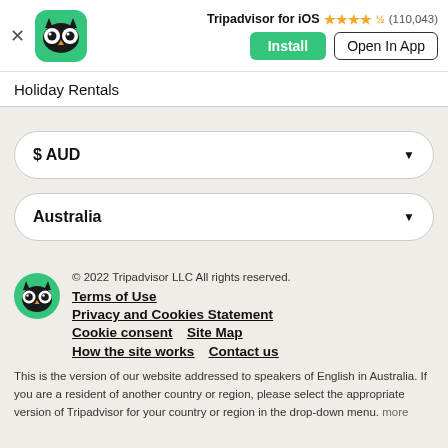[Figure (logo): Tripadvisor owl logo in green rounded square]
Tripadvisor for iOS ★★★★½ (110,043)
Install   Open In App
Holiday Rentals
$ AUD
Australia
[Figure (logo): Tripadvisor small owl logo green circle]
© 2022 Tripadvisor LLC All rights reserved.
Terms of Use
Privacy and Cookies Statement
Cookie consent   Site Map
How the site works   Contact us
This is the version of our website addressed to speakers of English in Australia. If you are a resident of another country or region, please select the appropriate version of Tripadvisor for your country or region in the drop-down menu. more